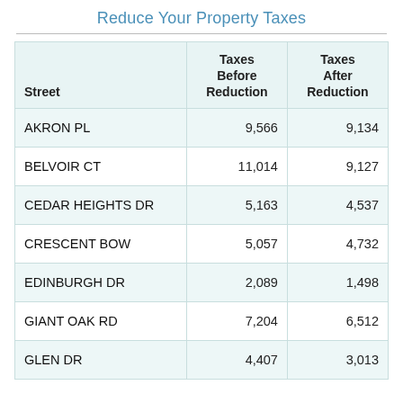Reduce Your Property Taxes
| Street | Taxes Before Reduction | Taxes After Reduction |
| --- | --- | --- |
| AKRON PL | 9,566 | 9,134 |
| BELVOIR CT | 11,014 | 9,127 |
| CEDAR HEIGHTS DR | 5,163 | 4,537 |
| CRESCENT BOW | 5,057 | 4,732 |
| EDINBURGH DR | 2,089 | 1,498 |
| GIANT OAK RD | 7,204 | 6,512 |
| GLEN DR | 4,407 | 3,013 |